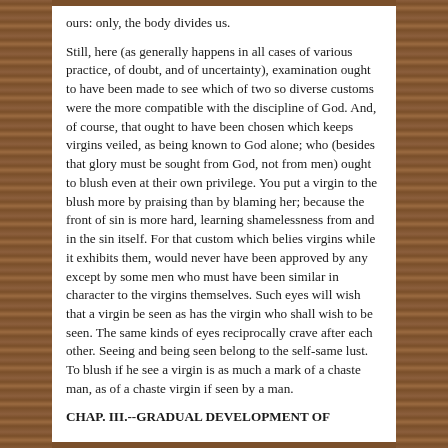ours: only, the body divides us.
Still, here (as generally happens in all cases of various practice, of doubt, and of uncertainty), examination ought to have been made to see which of two so diverse customs were the more compatible with the discipline of God. And, of course, that ought to have been chosen which keeps virgins veiled, as being known to God alone; who (besides that glory must be sought from God, not from men) ought to blush even at their own privilege. You put a virgin to the blush more by praising than by blaming her; because the front of sin is more hard, learning shamelessness from and in the sin itself. For that custom which belies virgins while it exhibits them, would never have been approved by any except by some men who must have been similar in character to the virgins themselves. Such eyes will wish that a virgin be seen as has the virgin who shall wish to be seen. The same kinds of eyes reciprocally crave after each other. Seeing and being seen belong to the self-same lust. To blush if he see a virgin is as much a mark of a chaste man, as of a chaste virgin if seen by a man.
CHAP. III.--GRADUAL DEVELOPMENT OF